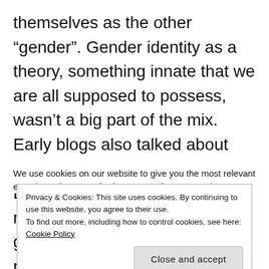themselves as the other “gender”. Gender identity as a theory, something innate that we are all supposed to possess, wasn’t a big part of the mix. Early blogs also talked about sport and the need to include LGBT people but there was no mention of self-identifying trans girls, that is biological boys, playing in girls’ teams – instead it concentrated on the real and present levels of
We use cookies on our website to give you the most relevant experience by remembering your preferences and repeat
Privacy & Cookies: This site uses cookies. By continuing to use this website, you agree to their use.
To find out more, including how to control cookies, see here: Cookie Policy
Close and accept